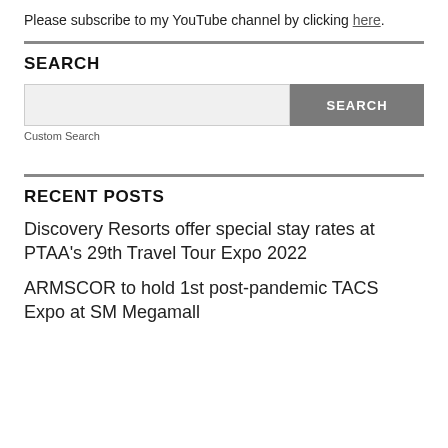Please subscribe to my YouTube channel by clicking here.
SEARCH
Custom Search
RECENT POSTS
Discovery Resorts offer special stay rates at PTAA's 29th Travel Tour Expo 2022
ARMSCOR to hold 1st post-pandemic TACS Expo at SM Megamall